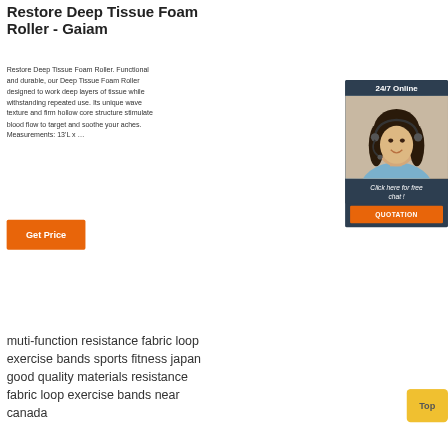Restore Deep Tissue Foam Roller - Gaiam
Restore Deep Tissue Foam Roller. Functional and durable, our Deep Tissue Foam Roller designed to work deep layers of tissue while withstanding repeated use. Its unique wave texture and firm hollow core structure stimulate blood flow to target and soothe your aches. Measurements: 13'L x …
[Figure (other): Orange 'Get Price' button]
[Figure (other): 24/7 Online chat widget with woman wearing headset, dark blue background, 'Click here for free chat!' text and orange QUOTATION button]
muti-function resistance fabric loop exercise bands sports fitness japan good quality materials resistance fabric loop exercise bands near canada
[Figure (other): Yellow 'Top' button in bottom right]